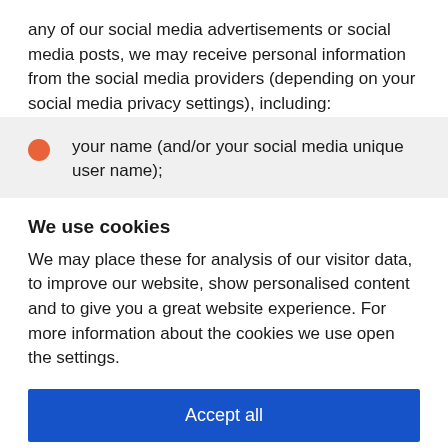any of our social media advertisements or social media posts, we may receive personal information from the social media providers (depending on your social media privacy settings), including:
your name (and/or your social media unique user name);
We use cookies
We may place these for analysis of our visitor data, to improve our website, show personalised content and to give you a great website experience. For more information about the cookies we use open the settings.
Accept all
Deny
No, adjust